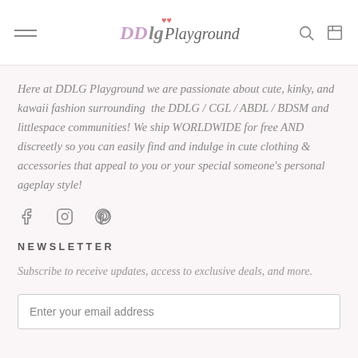DDlg Playground — navigation header with hamburger menu, logo, search and cart icons
Here at DDLG Playground we are passionate about cute, kinky, and kawaii fashion surrounding  the DDLG / CGL / ABDL / BDSM and littlespace communities! We ship WORLDWIDE for free AND discreetly so you can easily find and indulge in cute clothing & accessories that appeal to you or your special someone's personal ageplay style!
[Figure (other): Social media icons: Facebook, Instagram, Pinterest]
NEWSLETTER
Subscribe to receive updates, access to exclusive deals, and more.
Enter your email address